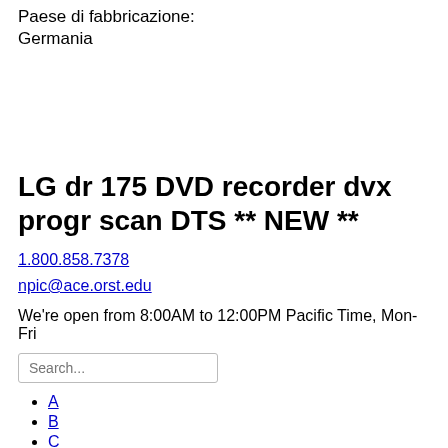Paese di fabbricazione:
Germania
LG dr 175 DVD recorder dvx progr scan DTS ** NEW **
1.800.858.7378
npic@ace.orst.edu
We're open from 8:00AM to 12:00PM Pacific Time, Mon-Fri
Search...
A
B
C